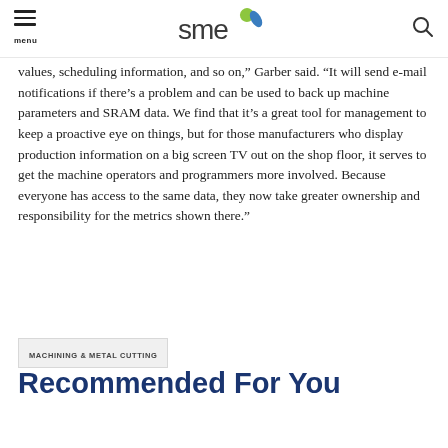SME - menu [logo] [search]
values, scheduling information, and so on,” Garber said. “It will send e-mail notifications if there’s a problem and can be used to back up machine parameters and SRAM data. We find that it’s a great tool for management to keep a proactive eye on things, but for those manufacturers who display production information on a big screen TV out on the shop floor, it serves to get the machine operators and programmers more involved. Because everyone has access to the same data, they now take greater ownership and responsibility for the metrics shown there.”
MACHINING & METAL CUTTING
Recommended For You